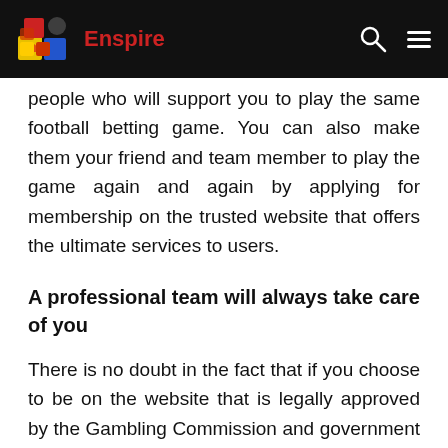Enspire
people who will support you to play the same football betting game. You can also make them your friend and team member to play the game again and again by applying for membership on the trusted website that offers the ultimate services to users.
A professional team will always take care of you
There is no doubt in the fact that if you choose to be on the website that is legally approved by the Gambling Commission and government authority of